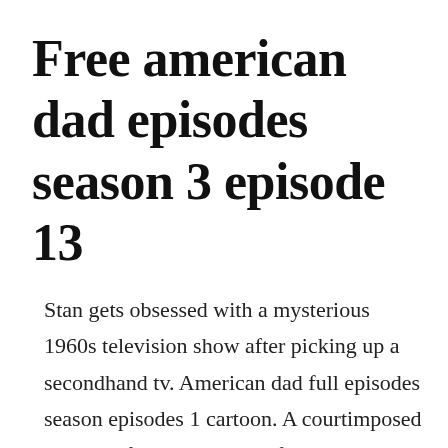Free american dad episodes season 3 episode 13
Stan gets obsessed with a mysterious 1960s television show after picking up a secondhand tv. American dad full episodes season episodes 1 cartoon. A courtimposed sentence forces stan to perform community service as a